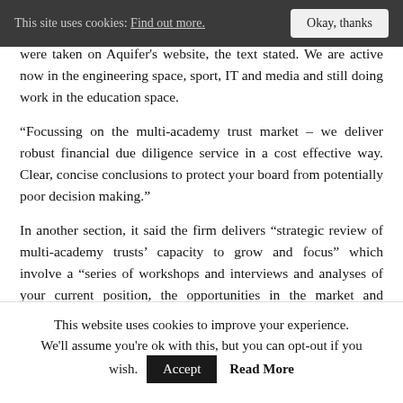This site uses cookies: Find out more. | Okay, thanks
were taken on Aquifer's website, the text stated. We are active now in the engineering space, sport, IT and media and still doing work in the education space.
“Focussing on the multi-academy trust market – we deliver robust financial due diligence service in a cost effective way. Clear, concise conclusions to protect your board from potentially poor decision making.”
In another section, it said the firm delivers “strategic review of multi-academy trusts’ capacity to grow and focus” which involve a “series of workshops and interviews and analyses of your current position, the opportunities in the market and delivers a strategic for growth and excellence”
This website uses cookies to improve your experience. We’ll assume you’re ok with this, but you can opt-out if you wish. Accept | Read More